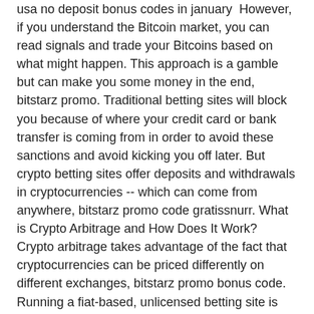usa no deposit bonus codes in january However, if you understand the Bitcoin market, you can read signals and trade your Bitcoins based on what might happen. This approach is a gamble but can make you some money in the end, bitstarz promo. Traditional betting sites will block you because of where your credit card or bank transfer is coming from in order to avoid these sanctions and avoid kicking you off later. But crypto betting sites offer deposits and withdrawals in cryptocurrencies -- which can come from anywhere, bitstarz promo code gratissnurr. What is Crypto Arbitrage and How Does It Work? Crypto arbitrage takes advantage of the fact that cryptocurrencies can be priced differently on different exchanges, bitstarz promo bonus code. Running a fiat-based, unlicensed betting site is difficult for these reasons. Authorities will end up noticing, bitstarz promo code freispiele. It's refreshing to see a